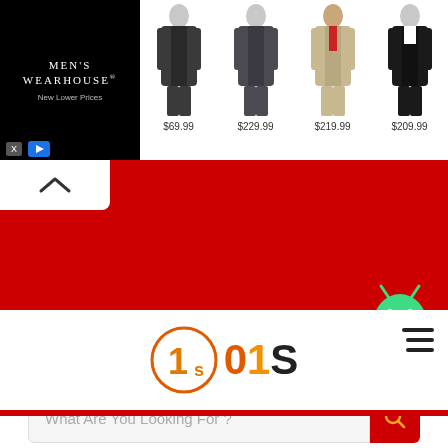[Figure (screenshot): Men's Wearhouse advertisement banner with logo on black background and four suit product images with prices: $69.99, $229.99, $219.99, $209.99]
[Figure (screenshot): Red website footer section with Android app icon and social media icons: Facebook, Twitter, LinkedIn, Pinterest, Instagram, Reddit]
[Figure (logo): 01S website logo with circular icon containing '1s' and text '01S']
What Are You Looking For ?